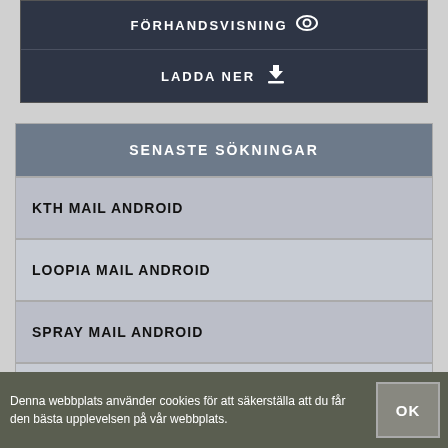FÖRHANDSVISNING
LADDA NER
SENASTE SÖKNINGAR
KTH MAIL ANDROID
LOOPIA MAIL ANDROID
SPRAY MAIL ANDROID
TELIA MAIL ANDROID
Denna webbplats använder cookies för att säkerställa att du får den bästa upplevelsen på vår webbplats.